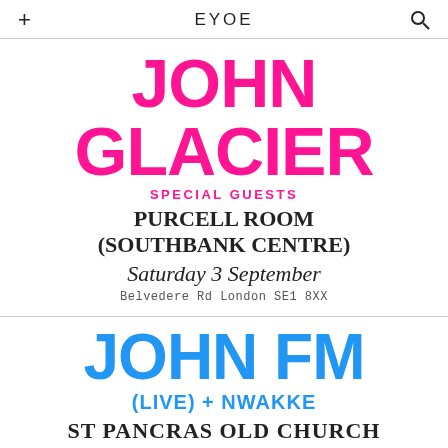+ EYOE 🔍
JOHN GLACIER
SPECIAL GUESTS
PURCELL ROOM (SOUTHBANK CENTRE)
Saturday 3 September
Belvedere Rd London SE1 8XX
JOHN FM
(LIVE) + NWAKKE
ST PANCRAS OLD CHURCH